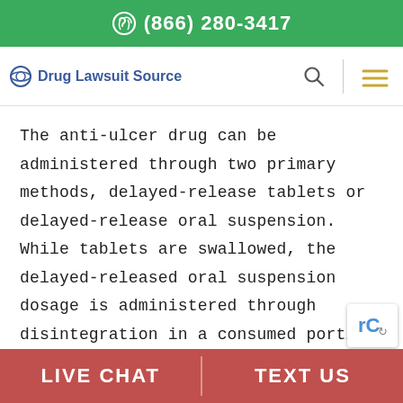(866) 280-3417
Drug Lawsuit Source
The anti-ulcer drug can be administered through two primary methods, delayed-release tablets or delayed-release oral suspension. While tablets are swallowed, the delayed-released oral suspension dosage is administered through disintegration in a consumed portion of apple juice or applesauce.
Developed by Pfizer Inc. subsidiary Wyeth, a New
LIVE CHAT | TEXT US